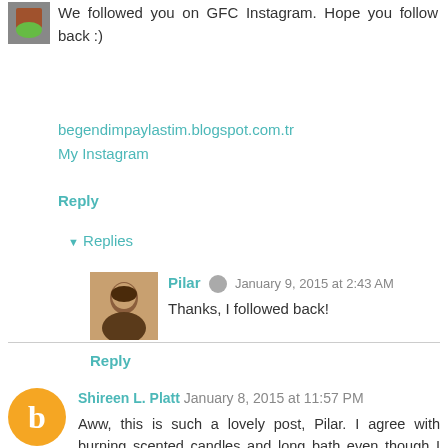[Figure (photo): Small user avatar photo in top left corner]
We followed you on GFC Instagram. Hope you follow back :)
begendimpaylastim.blogspot.com.tr
My Instagram
Reply
▼ Replies
[Figure (photo): Pilar user avatar photo]
Pilar  January 9, 2015 at 2:43 AM
Thanks, I followed back!
Reply
[Figure (logo): Orange Blogger B logo avatar for Shireen L. Platt]
Shireen L. Platt  January 8, 2015 at 11:57 PM
Aww, this is such a lovely post, Pilar. I agree with burning scented candles and long bath even though I haven't managed to enjoy a bath recently because my 8 months old kept wanting to jump in with me. LOL!